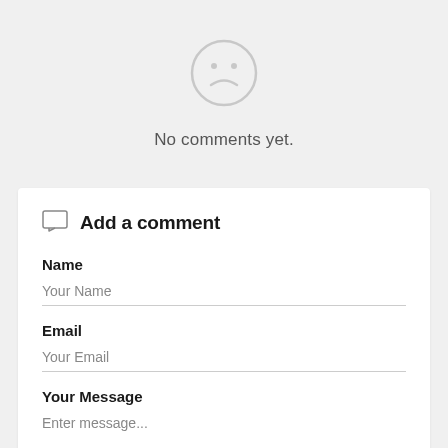[Figure (illustration): A sad face / frown emoji icon, light gray circle outline with dot eyes and a downward curved mouth]
No comments yet.
Add a comment
Name
Your Name
Email
Your Email
Your Message
Enter message...